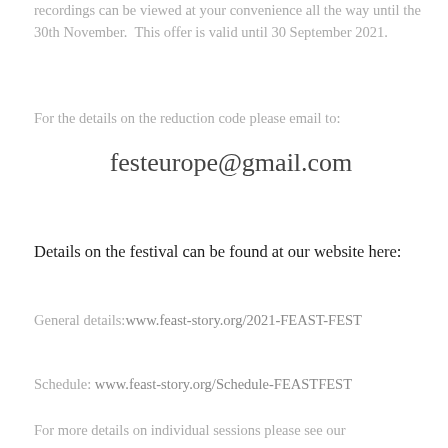recordings can be viewed at your convenience all the way until the 30th November.  This offer is valid until 30 September 2021.
For the details on the reduction code please email to:
festeurope@gmail.com
Details on the festival can be found at our website here:
General details: www.feast-story.org/2021-FEAST-FEST
Schedule: www.feast-story.org/Schedule-FEASTFEST
For more details on individual sessions please see our